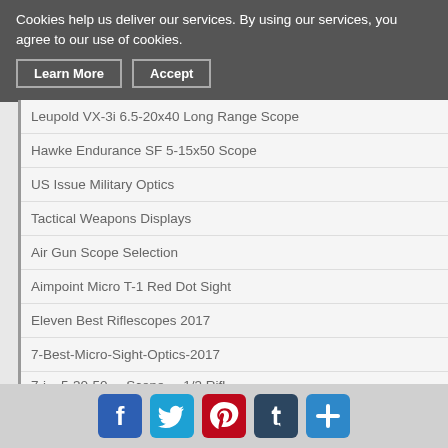Cookies help us deliver our services. By using our services, you agree to our use of cookies.
Learn More
Accept
Leupold VX-3i 6.5-20x40 Long Range Scope
Hawke Endurance SF 5-15x50 Scope
US Issue Military Optics
Tactical Weapons Displays
Air Gun Scope Selection
Aimpoint Micro T-1 Red Dot Sight
Eleven Best Riflescopes 2017
7-Best-Micro-Sight-Optics-2017
[Figure (infographic): Social media share buttons: Facebook, Twitter, Pinterest, Tumblr, and a plus/more button]